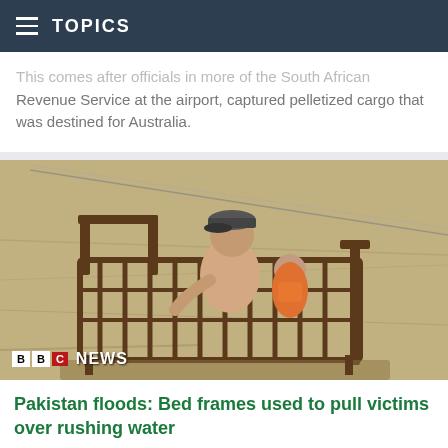TOPICS
Revenue Service at the airport, captured pelletized cargo that was destined for Australia.
[Figure (photo): A man and a child riding on a metal bed frame being pulled over rushing floodwater. BBC NEWS logo visible in the bottom left corner.]
Pakistan floods: Bed frames used to pull victims over rushing water
Today at 12:40 PM, via BBC News